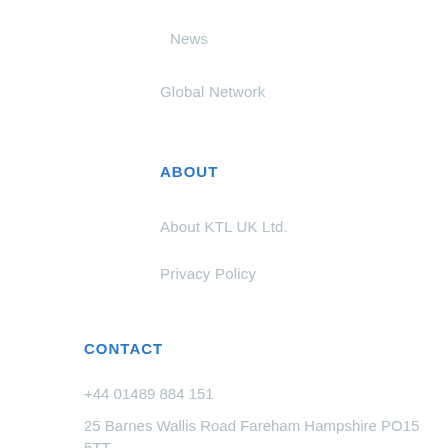News
Global Network
ABOUT
About KTL UK Ltd.
Privacy Policy
CONTACT
+44 01489 884 151
25 Barnes Wallis Road Fareham Hampshire PO15 5TT